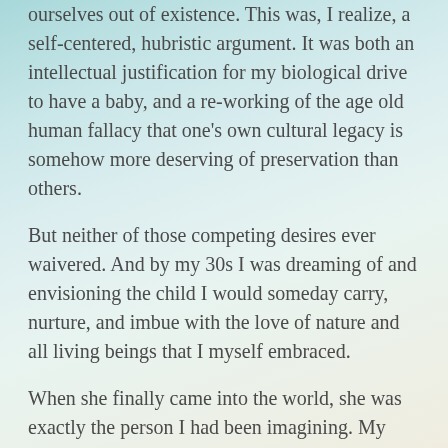ourselves out of existence. This was, I realize, a self-centered, hubristic argument. It was both an intellectual justification for my biological drive to have a baby, and a re-working of the age old human fallacy that one's own cultural legacy is somehow more deserving of preservation than others.
But neither of those competing desires ever waivered. And by my 30s I was dreaming of and envisioning the child I would someday carry, nurture, and imbue with the love of nature and all living beings that I myself embraced.
When she finally came into the world, she was exactly the person I had been imagining. My little girl. The one who not only climbs trees with abandon, but sings to honor them, whispers her hurts to them, and is comforted by their embrace. The one who rescues even mosquitoes and ants when they invade indoor space, and argues vehemently with anyone, adult or child, who questions the worth of a single tiny insect